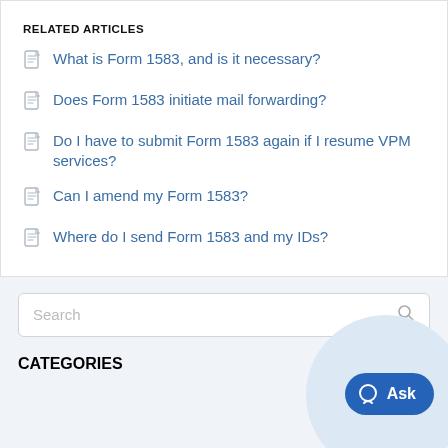RELATED ARTICLES
What is Form 1583, and is it necessary?
Does Form 1583 initiate mail forwarding?
Do I have to submit Form 1583 again if I resume VPM services?
Can I amend my Form 1583?
Where do I send Form 1583 and my IDs?
Search
CATEGORIES